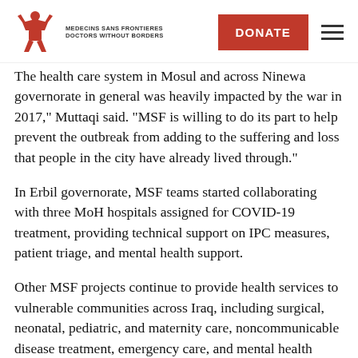[Figure (logo): Médecins Sans Frontières / Doctors Without Borders logo with red figure and text]
The health care system in Mosul and across Ninewa governorate in general was heavily impacted by the war in 2017," Muttaqi said. "MSF is willing to do its part to help prevent the outbreak from adding to the suffering and loss that people in the city have already lived through."
In Erbil governorate, MSF teams started collaborating with three MoH hospitals assigned for COVID-19 treatment, providing technical support on IPC measures, patient triage, and mental health support.
Other MSF projects continue to provide health services to vulnerable communities across Iraq, including surgical, neonatal, pediatric, and maternity care, noncommunicable disease treatment, emergency care, and mental health support. MSF has